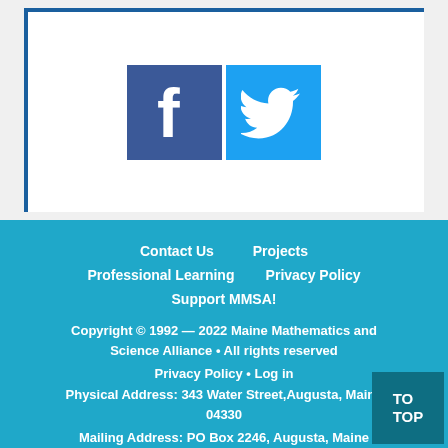[Figure (logo): Facebook and Twitter social media icon buttons side by side on a white card with blue left border]
Contact Us   Projects
Professional Learning   Privacy Policy
Support MMSA!

Copyright © 1992 — 2022 Maine Mathematics and Science Alliance • All rights reserved

Privacy Policy • Log in

Physical Address: 343 Water Street, Augusta, Maine 04330

Mailing Address: PO Box 2246, Augusta, Maine 04338